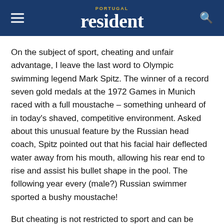PORTUGAL resident
On the subject of sport, cheating and unfair advantage, I leave the last word to Olympic swimming legend Mark Spitz. The winner of a record seven gold medals at the 1972 Games in Munich raced with a full moustache – something unheard of in today's shaved, competitive environment. Asked about this unusual feature by the Russian head coach, Spitz pointed out that his facial hair deflected water away from his mouth, allowing his rear end to rise and assist his bullet shape in the pool. The following year every (male?) Russian swimmer sported a bushy moustache!
But cheating is not restricted to sport and can be